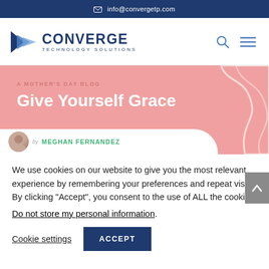✉ info@convergetp.com
[Figure (logo): Converge Technology Solutions logo with arrow icon and company name]
[Figure (illustration): A Mother's Day Blog banner with title 'Give Yourself Grace' by Meghan Fernandez on pink background with wave decoration]
We use cookies on our website to give you the most relevant experience by remembering your preferences and repeat visits. By clicking "Accept", you consent to the use of ALL the cookies.
Do not store my personal information.
Cookie settings   ACCEPT